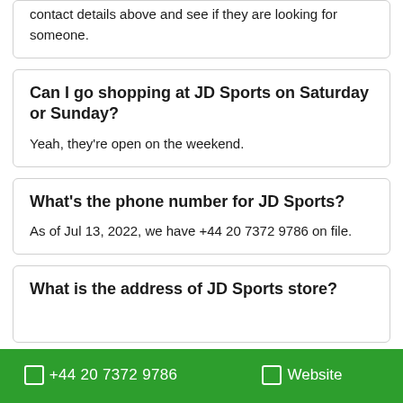contact details above and see if they are looking for someone.
Can I go shopping at JD Sports on Saturday or Sunday?
Yeah, they're open on the weekend.
What's the phone number for JD Sports?
As of Jul 13, 2022, we have +44 20 7372 9786 on file.
What is the address of JD Sports store?
☐ +44 20 7372 9786   ☐ Website